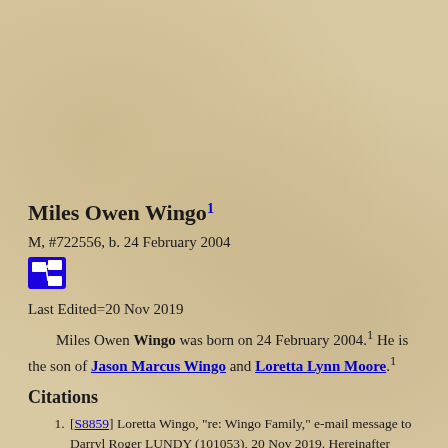Miles Owen Wingo1
M, #722556, b. 24 February 2004
[Figure (other): Blue pedigree/family tree icon button]
Last Edited=20 Nov 2019
Miles Owen Wingo was born on 24 February 2004.1 He is the son of Jason Marcus Wingo and Loretta Lynn Moore.1
Citations
1. [S8859] Loretta Wingo, "re: Wingo Family," e-mail message to Darryl Roger LUNDY (101053), 20 Nov 2019. Hereinafter